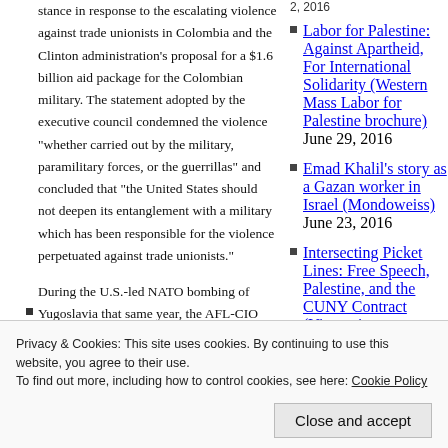stance in response to the escalating violence against trade unionists in Colombia and the Clinton administration's proposal for a $1.6 billion aid package for the Colombian military. The statement adopted by the executive council condemned the violence “whether carried out by the military, paramilitary forces, or the guerrillas” and concluded that “the United States should not deepen its entanglement with a military which has been responsible for the violence perpetuated against trade unionists.”
During the U.S.-led NATO bombing of Yugoslavia that same year, the AFL-CIO came
declare that the continuing atrocities in Kosovo
2, 2016
Labor for Palestine: Against Apartheid, For International Solidarity (Western Mass Labor for Palestine brochure) June 29, 2016
Emad Khalil’s story as a Gazan worker in Israel (Mondoweiss) June 23, 2016
Intersecting Picket Lines: Free Speech, Palestine, and the CUNY Contract (Viewpoint
Board Meeting, June
Privacy & Cookies: This site uses cookies. By continuing to use this website, you agree to their use.
To find out more, including how to control cookies, see here: Cookie Policy
Close and accept